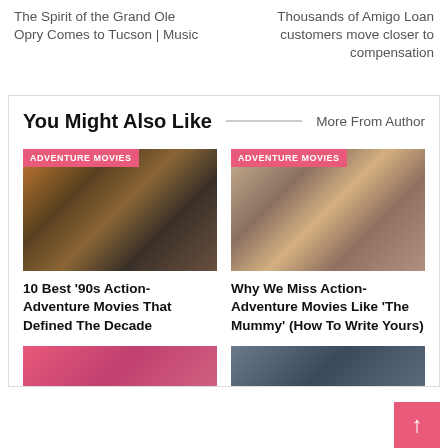The Spirit of the Grand Ole Opry Comes to Tucson | Music
Thousands of Amigo Loan customers move closer to compensation
You Might Also Like
More From Author
[Figure (photo): Movie still showing a bearded man in foreground with other figures behind, with ADVENTURE MOVIES badge]
10 Best '90s Action-Adventure Movies That Defined The Decade
[Figure (photo): Movie still showing a group of three people, with ADVENTURE MOVIES badge]
Why We Miss Action-Adventure Movies Like 'The Mummy' (How To Write Yours)